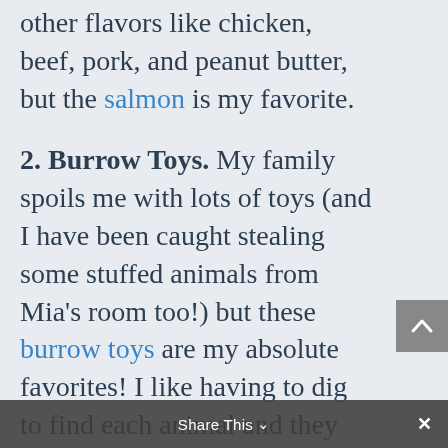other flavors like chicken, beef, pork, and peanut butter, but the salmon is my favorite.
2. Burrow Toys. My family spoils me with lots of toys (and I have been caught stealing some stuffed animals from Mia's room too!) but these burrow toys are my absolute favorites! I like having to dig to find each animal and they are small enough that I carry them all around with me.
3. My Bed. I have a few beds at home, but this bed is almost as soft as I am! I get so cozy in it that my family makes fun of how loudly I